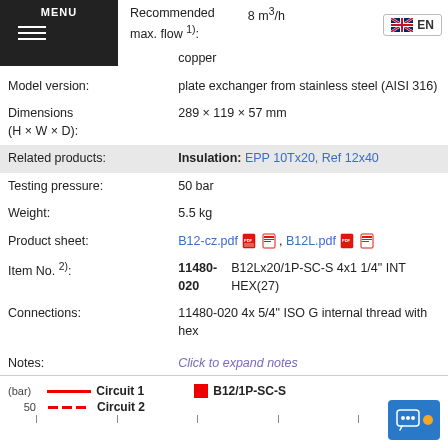MENU
Recommended max. flow 1): 8 m/h
Brazing material: copper
Model version: plate exchanger from stainless steel (AISI 316)
Dimensions (H × W × D): 289 × 119 × 57 mm
Related products: Insulation: EPP 10Tx20, Ref 12x40
Testing pressure: 50 bar
Weight: 5.5 kg
Product sheet: B12-cz.pdf, B12L.pdf
Item No. 2): 11480-020   B12Lx20/1P-SC-S 4x1 1/4" INT HEX(27)
Connections: 11480-020 4x 5/4" ISO G internal thread with hex
Notes: Click to expand notes
[Figure (other): Chart legend showing Circuit 1 (solid red line), Circuit 2 (dashed red line), B12/1P-SC-S (red square), with pressure (bar) y-axis and axis tick lines at bottom]